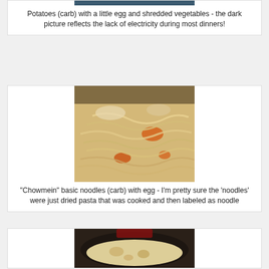[Figure (photo): Dark photo of potatoes dish with egg and shredded vegetables]
Potatoes (carb) with a little egg and shredded vegetables - the dark picture reflects the lack of electricity during most dinners!
[Figure (photo): Photo of chowmein-style noodles with egg and orange vegetables]
"Chowmein" basic noodles (carb) with egg - I'm pretty sure the 'noodles' were just dried pasta that was cooked and then labeled as noodle
[Figure (photo): Photo of flatbread/roti on a plate]